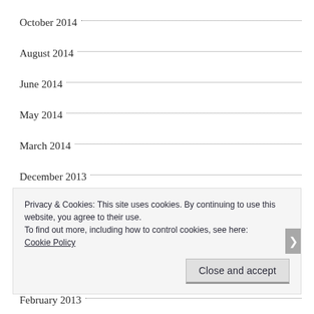October 2014
August 2014
June 2014
May 2014
March 2014
December 2013
November 2013
June 2013
March 2013
February 2013
Privacy & Cookies: This site uses cookies. By continuing to use this website, you agree to their use.
To find out more, including how to control cookies, see here: Cookie Policy
Close and accept